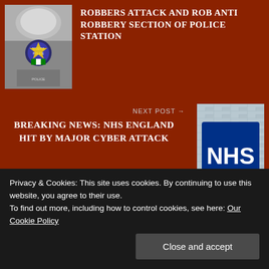[Figure (photo): Nigeria Police badge/logo with a person in uniform]
ROBBERS ATTACK AND ROB ANTI ROBBERY SECTION OF POLICE STATION
NEXT POST →
BREAKING NEWS: NHS ENGLAND HIT BY MAJOR CYBER ATTACK
[Figure (photo): NHS sign - blue NHS logo on building]
You must log in to post a comment.
This site uses Akismet to reduce spam. Learn how your comment data is processed.
Privacy & Cookies: This site uses cookies. By continuing to use this website, you agree to their use.
To find out more, including how to control cookies, see here: Our Cookie Policy
Close and accept